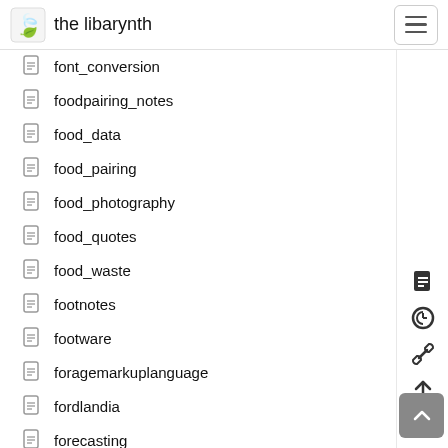the libarynth
font_conversion
foodpairing_notes
food_data
food_pairing
food_photography
food_quotes
food_waste
footnotes
footware
foragemarkuplanguage
fordlandia
forecasting
forecasting_and_prediction
foreign_function_interface
forest_gardening
formalising_operational_adaptive_methodologies
forth_language